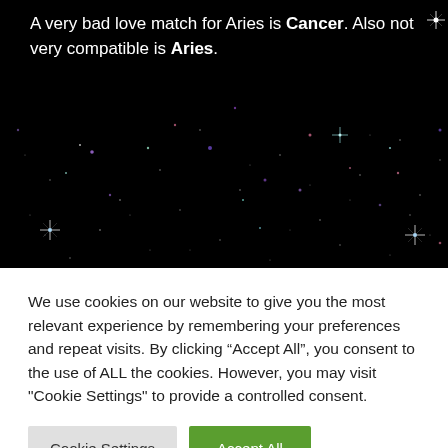[Figure (photo): Dark night sky background with colorful stars (blue, purple, pink, white) scattered across a black background. White text overlaid at top reading about Aries love compatibility.]
A very bad love match for Aries is Cancer. Also not very compatible is Aries.
We use cookies on our website to give you the most relevant experience by remembering your preferences and repeat visits. By clicking “Accept All”, you consent to the use of ALL the cookies. However, you may visit "Cookie Settings" to provide a controlled consent.